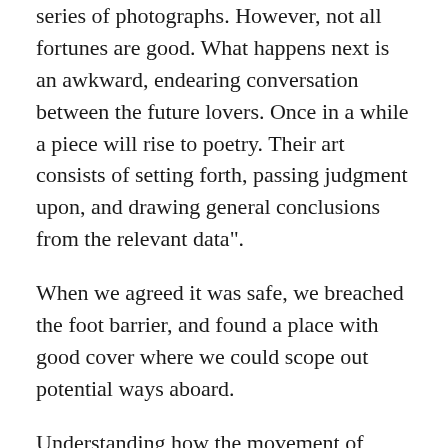series of photographs. However, not all fortunes are good. What happens next is an awkward, endearing conversation between the future lovers. Once in a while a piece will rise to poetry. Their art consists of setting forth, passing judgment upon, and drawing general conclusions from the relevant data".
When we agreed it was safe, we breached the foot barrier, and found a place with good cover where we could scope out potential ways aboard.
Understanding how the movement of thought is managed through an essay has a profound impact on its overall cogency and ability to impress. Surely there were some highly-placed professors of unquestionable loyalty who had discussed economics with government officials before.
The comparison highlights the similarities between two or